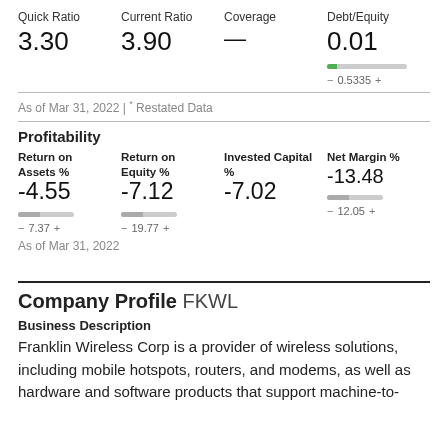Quick Ratio
3.30
Current Ratio
3.90
Coverage
—
Debt/Equity
0.01
0.5335
As of Mar 31, 2022 | * Restated Data
Profitability
Return on Assets %
-4.55
7.37
Return on Equity %
-7.12
19.77
Invested Capital %
-7.02
Net Margin %
-13.48
12.05
As of Mar 31, 2022
Company Profile FKWL
Business Description
Franklin Wireless Corp is a provider of wireless solutions, including mobile hotspots, routers, and modems, as well as hardware and software products that support machine-to-